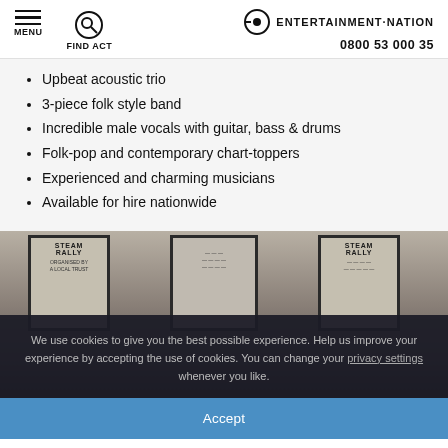MENU | FIND ACT | ENTERTAINMENT·NATION | 0800 53 000 35
Upbeat acoustic trio
3-piece folk style band
Incredible male vocals with guitar, bass & drums
Folk-pop and contemporary chart-toppers
Experienced and charming musicians
Available for hire nationwide
[Figure (photo): Photo of band in a room with framed STEAM RALLY posters on a concrete wall, band members seated]
We use cookies to give you the best possible experience. Help us improve your experience by accepting the use of cookies. You can change your privacy settings whenever you like.
Accept